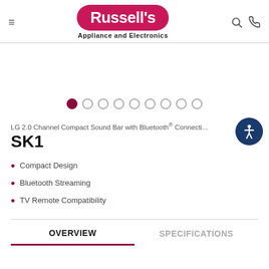[Figure (logo): Russell's Appliance and Electronics logo - pink/red pill-shaped background with white bold text reading Russell's, below reads Appliance and Electronics in black]
[Figure (other): Carousel dot navigation: 9 dots, first dot filled dark red/maroon, remaining 8 dots are hollow circles]
LG 2.0 Channel Compact Sound Bar with Bluetooth® Connecti...
SK1
Compact Design
Bluetooth Streaming
TV Remote Compatibility
OVERVIEW
SPECIFICATIONS